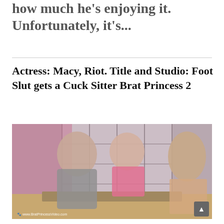how much he's enjoying it. Unfortunately, it's...
Actress: Macy, Riot. Title and Studio: Foot Slut gets a Cuck Sitter Brat Princess 2
[Figure (photo): Two women and a man in a scene, with a Japanese screen divider in the background. Watermark reads www.BratPrincessVideo.com]
www.BratPrincessVideo.com